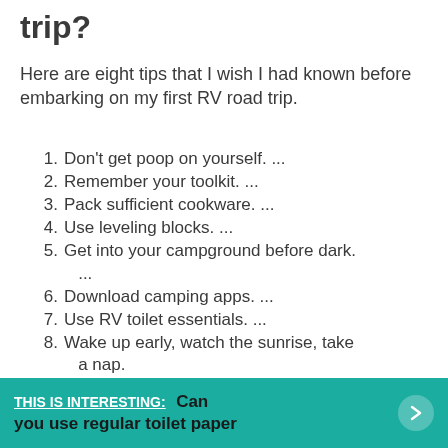trip?
Here are eight tips that I wish I had known before embarking on my first RV road trip.
Don't get poop on yourself. ...
Remember your toolkit. ...
Pack sufficient cookware. ...
Use leveling blocks. ...
Get into your campground before dark. ...
Download camping apps. ...
Use RV toilet essentials. ...
Wake up early, watch the sunrise, take a nap.
THIS IS INTERESTING: Can you use regular toilet paper